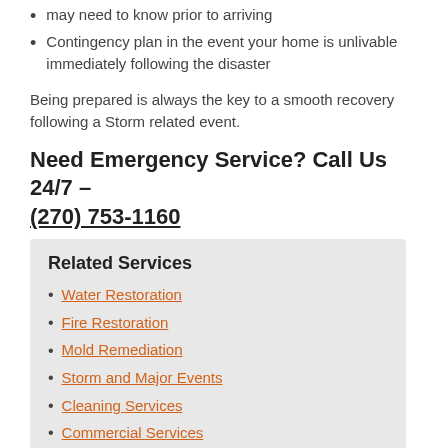may need to know prior to arriving
Contingency plan in the event your home is unlivable immediately following the disaster
Being prepared is always the key to a smooth recovery following a Storm related event.
Need Emergency Service? Call Us 24/7 – (270) 753-1160
Related Services
Water Restoration
Fire Restoration
Mold Remediation
Storm and Major Events
Cleaning Services
Commercial Services
Faster to Any Size Emergency
In many cleaning and restoration situations, immediate action is needed. With over 2010 U.S. and Canadian